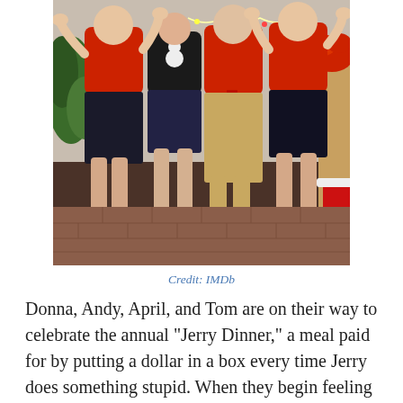[Figure (photo): Group of four people in Christmas/holiday attire posing together, wearing red sweaters, near holiday decorations including poinsettias and a Santa boot. Photo is cropped at the waist up, and the lower portion shows legs and feet.]
Credit: IMDb
Donna, Andy, April, and Tom are on their way to celebrate the annual “Jerry Dinner,” a meal paid for by putting a dollar in a box every time Jerry does something stupid. When they begin feeling guilty about their terrible tradition, they decide to